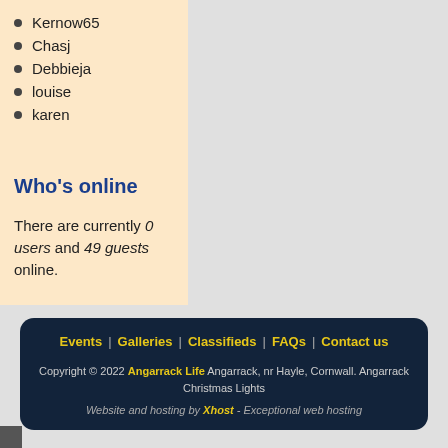Kernow65
Chasj
Debbieja
louise
karen
Who's online
There are currently 0 users and 49 guests online.
Events | Galleries | Classifieds | FAQs | Contact us
Copyright © 2022 Angarrack Life Angarrack, nr Hayle, Cornwall. Angarrack Christmas Lights
Website and hosting by Xhost - Exceptional web hosting